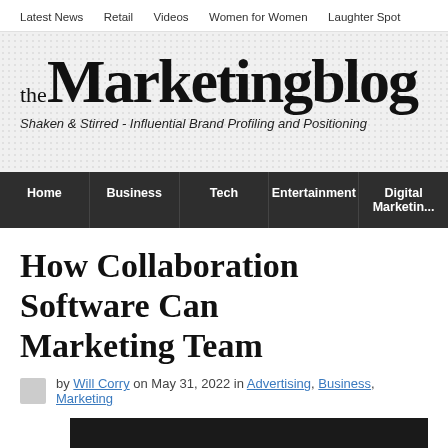Latest News   Retail   Videos   Women for Women   Laughter Spot
the Marketingblog
Shaken & Stirred - Influential Brand Profiling and Positioning
Home   Business   Tech   Entertainment   Digital Marketing
How Collaboration Software Can [Help Your] Marketing Team
by Will Corry on May 31, 2022 in Advertising, Business, Marketing
[Figure (photo): Dark hero image for article about collaboration software]